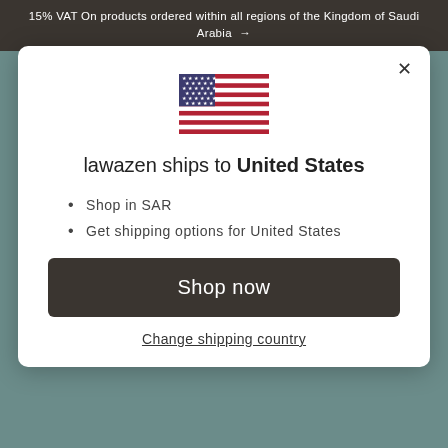15% VAT On products ordered within all regions of the Kingdom of Saudi Arabia →
[Figure (illustration): US flag emoji/icon displayed in the center of the modal dialog]
lawazen ships to United States
Shop in SAR
Get shipping options for United States
Shop now
Change shipping country